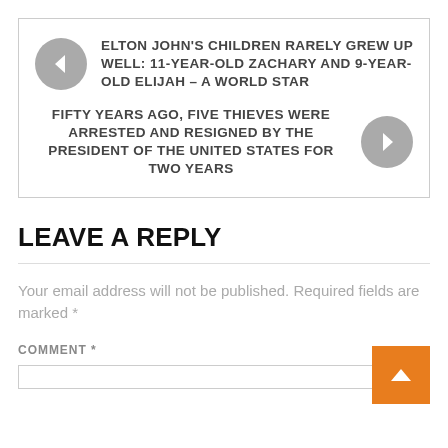ELTON JOHN'S CHILDREN RARELY GREW UP WELL: 11-YEAR-OLD ZACHARY AND 9-YEAR-OLD ELIJAH – A WORLD STAR
FIFTY YEARS AGO, FIVE THIEVES WERE ARRESTED AND RESIGNED BY THE PRESIDENT OF THE UNITED STATES FOR TWO YEARS
LEAVE A REPLY
Your email address will not be published. Required fields are marked *
COMMENT *